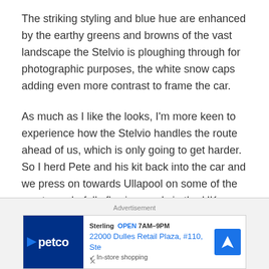The striking styling and blue hue are enhanced by the earthy greens and browns of the vast landscape the Stelvio is ploughing through for photographic purposes, the white snow caps adding even more contrast to frame the car.
As much as I like the looks, I'm more keen to experience how the Stelvio handles the route ahead of us, which is only going to get harder. So I herd Pete and his kit back into the car and we press on towards Ullapool on some of the most wonderfully flowing roads in the UK.
[Figure (screenshot): Advertisement banner showing Petco store information: Sterling, OPEN 7AM-9PM, 22000 Dulles Retail Plaza, #110, Ste, with Petco logo and navigation arrow icon]